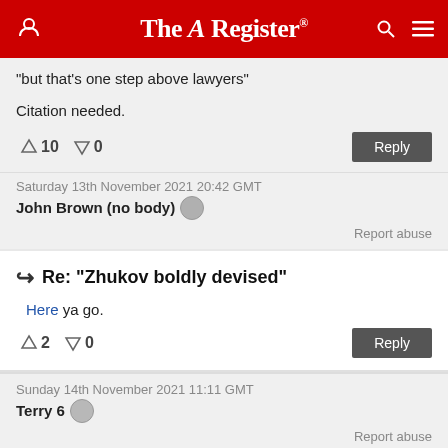The Register
"but that's one step above lawyers"
Citation needed.
↑10  ↓0   Reply
Saturday 13th November 2021 20:42 GMT
John Brown (no body)
Report abuse
Re: "Zhukov boldly devised"
Here ya go.
↑2  ↓0   Reply
Sunday 14th November 2021 11:11 GMT
Terry 6
Report abuse